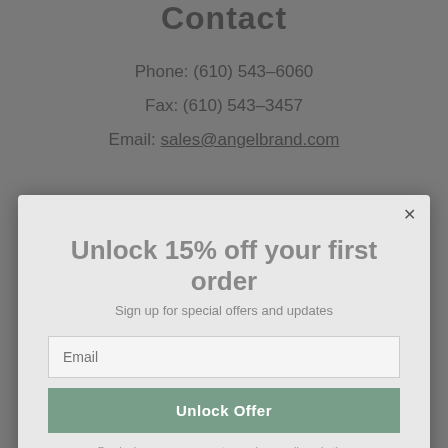Contact
Phone: (610) 543-6060
Fax: (610) 543-3457
Email: sales@angelbrand.com
Company
Our Story
Contact Us
Search
[Figure (screenshot): Modal popup overlay showing 'Unlock 15% off your first order' with email input, Unlock Offer button, disclaimer text, and No, thanks link]
Support
FAQ's
Privacy Policy